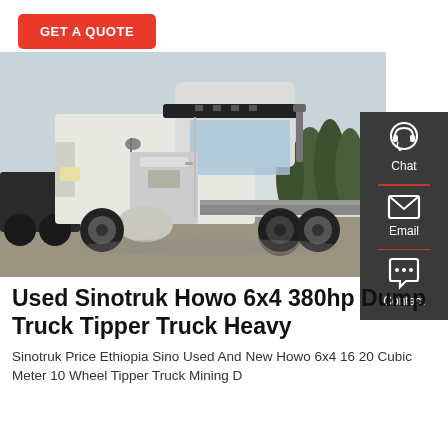GET A QUOTE
[Figure (photo): White Sinotruk HOWO 6x4 tractor truck parked in a lot with trees in background, with a dark sidebar showing Chat, Email, and Contact icons]
Used Sinotruk Howo 6x4 380hp Dump Truck Tipper Truck Heavy
Sinotruk Price Ethiopia Sino Used And New Howo 6x4 16 20 Cubic Meter 10 Wheel Tipper Truck Mining D